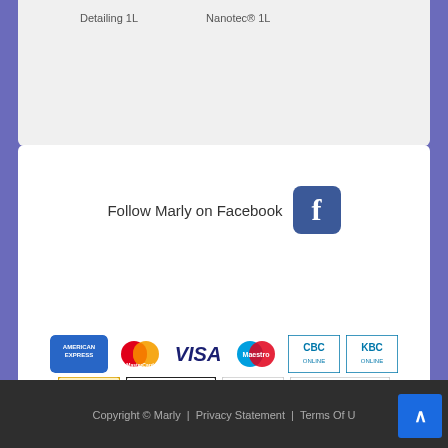Detailing 1L    Nanotec® 1L
Follow Marly on Facebook
[Figure (logo): Payment method logos: American Express, MasterCard, VISA, Maestro, CBC Online, KBC Online, PayPal, Bank transfer, VeriSign Secured, Payment processed by ogone]
Copyright © Marly  |  Privacy Statement  |  Terms Of Use